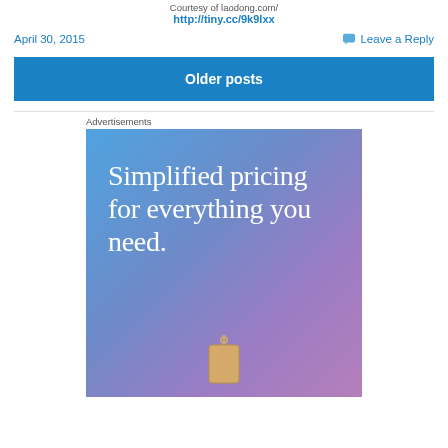Courtesy of laodong.com/
http://tiny.cc/9k9lxx
April 30, 2015    Leave a Reply
Older posts
Advertisements
[Figure (illustration): Advertisement image with gradient blue-purple background and white serif text reading 'Simplified pricing for everything you need.' with a price tag icon at the bottom.]